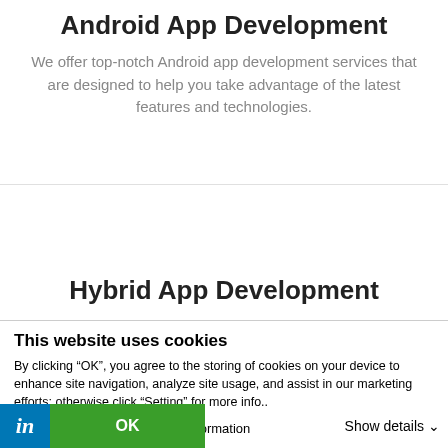Android App Development
We offer top-notch Android app development services that are designed to help you take advantage of the latest features and technologies.
Hybrid App Development
We offer...
This website uses cookies
By clicking “OK”, you agree to the storing of cookies on your device to enhance site navigation, analyze site usage, and assist in our marketing efforts; otherwise click “Setting” for more info..
Do Not Sell My Personal Information
OK
Show details